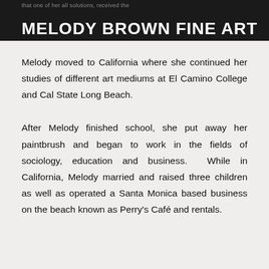MELODY BROWN FINE ART
Melody moved to California where she continued her studies of different art mediums at El Camino College and Cal State Long Beach.
After Melody finished school, she put away her paintbrush and began to work in the fields of sociology, education and business. While in California, Melody married and raised three children as well as operated a Santa Monica based business on the beach known as Perry's Café and rentals.